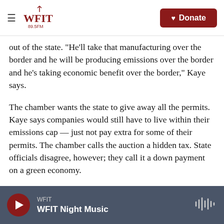WFIT 89.5FM — Donate
out of the state. "He'll take that manufacturing over the border and he will be producing emissions over the border and he's taking economic benefit over the border," Kaye says.
The chamber wants the state to give away all the permits. Kaye says companies would still have to live within their emissions cap — just not pay extra for some of their permits. The chamber calls the auction a hidden tax. State officials disagree, however; they call it a down payment on a green economy.
WFIT — WFIT Night Music